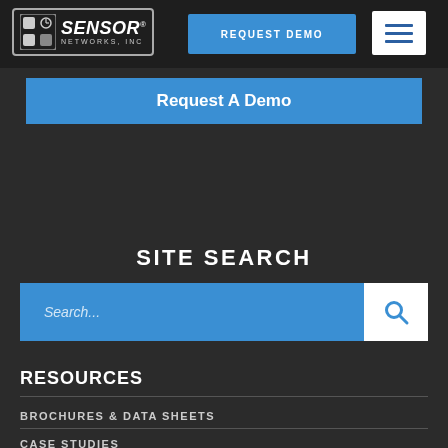SENSOR NETWORKS, INC
[Figure (screenshot): Sensor Networks Inc logo with icon]
REQUEST DEMO
[Figure (other): Hamburger menu icon]
Request A Demo
SITE SEARCH
Search...
RESOURCES
BROCHURES & DATA SHEETS
CASE STUDIES